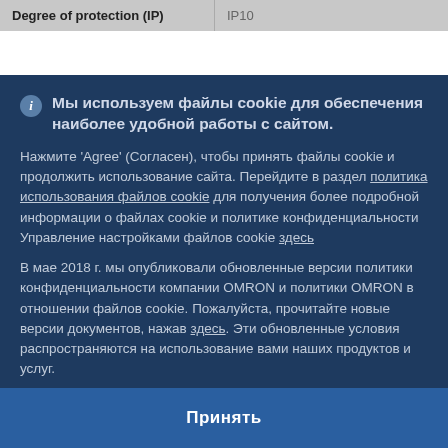| Degree of protection (IP) |  |
| --- | --- |
| Degree of protection (IP) | IP10 |
Мы используем файлы cookie для обеспечения наиболее удобной работы с сайтом.
Нажмите 'Agree' (Согласен), чтобы принять файлы cookie и продолжить использование сайта. Перейдите в раздел политика использования файлов cookie для получения более подробной информации о файлах cookie и политике конфиденциальности
Управление настройками файлов cookie здесь
В мае 2018 г. мы опубликовали обновленные версии политики конфиденциальности компании OMRON и политики OMRON в отношении файлов cookie. Пожалуйста, прочитайте новые версии документов, нажав здесь. Эти обновленные условия распространяются на использование вами наших продуктов и услуг.
Принять